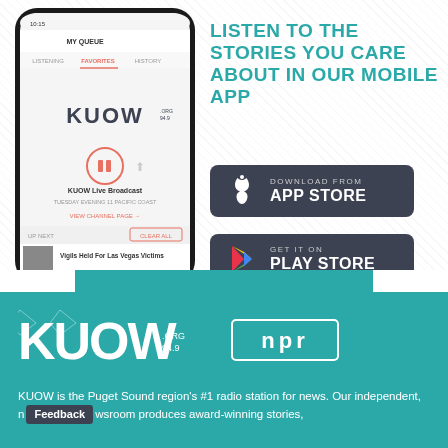[Figure (screenshot): Smartphone showing KUOW app with My Queue screen, featuring KUOW logo, play button, KUOW Live Broadcast, and Vigils Held For Las Vegas Victims item]
LISTEN TO THE STORIES YOU CARE ABOUT IN OUR MOBILE APP
[Figure (other): Download from App Store button - dark rounded rectangle with Apple logo icon]
[Figure (other): Get it on Play Store button - dark rounded rectangle with Google Play triangle logo]
[Figure (logo): KUOW .ORG 94.9 logo in white on teal background]
[Figure (logo): NPR logo in white outline box on teal background]
KUOW is the Puget Sound region's #1 radio station for news. Our independent, newsroom produces award-winning stories,
Feedback